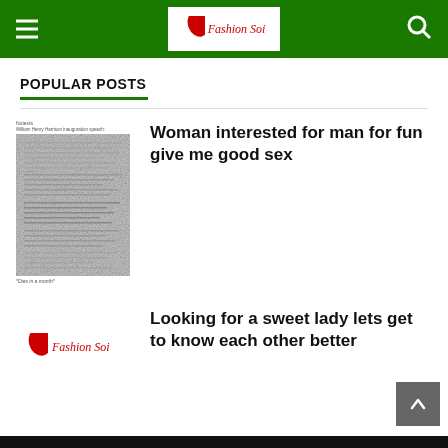FashionSoi - navigation header with hamburger menu, logo, and search icon
POPULAR POSTS
[Figure (photo): Thumbnail image of a grainy text document page with label 'Notexts', subtitle 'William Henry Harrison inauguration speech', and caption '*Dies in a month*']
Woman interested for man for fun give me good sex
[Figure (logo): FashionSoi logo with red leaf and italic red script text]
Looking for a sweet lady lets get to know each other better